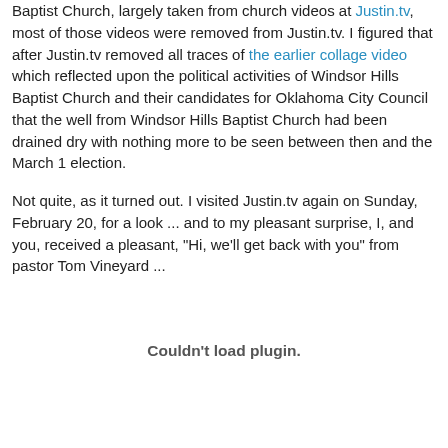Baptist Church, largely taken from church videos at Justin.tv, most of those videos were removed from Justin.tv. I figured that after Justin.tv removed all traces of the earlier collage video which reflected upon the political activities of Windsor Hills Baptist Church and their candidates for Oklahoma City Council that the well from Windsor Hills Baptist Church had been drained dry with nothing more to be seen between then and the March 1 election.
Not quite, as it turned out. I visited Justin.tv again on Sunday, February 20, for a look ... and to my pleasant surprise, I, and you, received a pleasant, "Hi, we'll get back with you" from pastor Tom Vineyard ...
Couldn't load plugin.